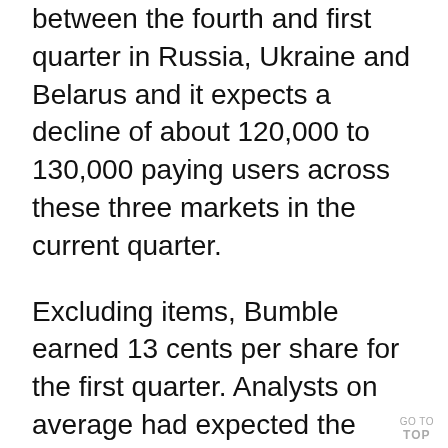between the fourth and first quarter in Russia, Ukraine and Belarus and it expects a decline of about 120,000 to 130,000 paying users across these three markets in the current quarter.
Excluding items, Bumble earned 13 cents per share for the first quarter. Analysts on average had expected the company to report a loss of 3 cents, according to IBES data from Refinitiv.
Shares of the Austin, Texas-based company rose to $11.4% to $19.64 in extended trading.
GO TO TOP